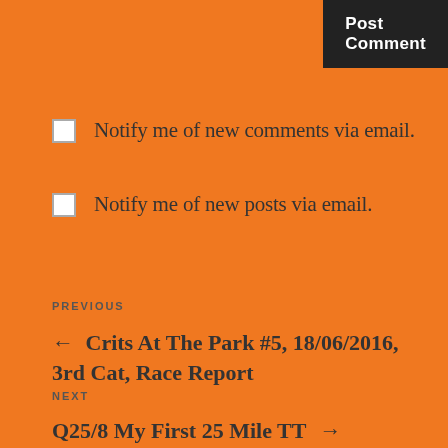Post Comment
Notify me of new comments via email.
Notify me of new posts via email.
PREVIOUS
← Crits At The Park #5, 18/06/2016, 3rd Cat, Race Report
NEXT
Q25/8 My First 25 Mile TT →